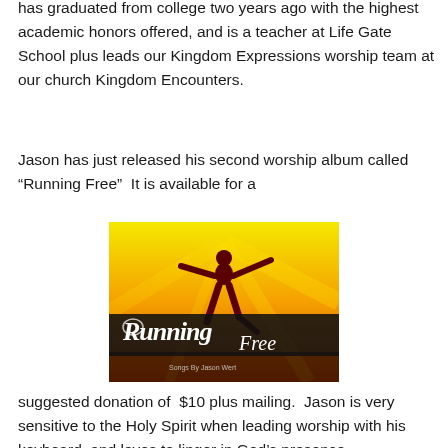has graduated from college two years ago with the highest academic honors offered, and is a teacher at Life Gate School plus leads our Kingdom Expressions worship team at our church Kingdom Encounters.
Jason has just released his second worship album called “Running Free”  It is available for a
[Figure (illustration): Album cover for 'Running Free' by Jason Wert showing a silhouetted figure with arms outstretched against a yellow/orange sunset background with the title 'Running Free' in stylized script and text 'Songs By Jason Wert' at the bottom.]
suggested donation of  $10 plus mailing.  Jason is very sensitive to the Holy Spirit when leading worship with his keyboard, and loves to linger in God’s presence